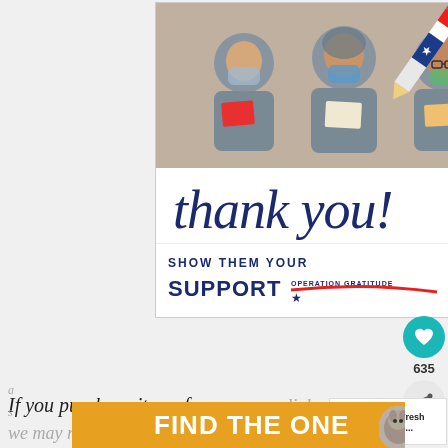[Figure (photo): Advertisement banner for Operation Gratitude showing three nurses/healthcare workers in scrubs and masks holding thank-you cards, with a patriotic pencil graphic, cursive 'thank you!' text, and 'SHOW THEM YOUR SUPPORT — OPERATION GRATITUDE' text below.]
635
If you purchase items from our a... links we may receive a small commission
[Figure (other): What's Next callout box showing grilled peaches image with text 'WHAT'S NEXT → Grilled Fresh Peaches...']
[Figure (other): Bottom advertisement banner with yellow/gold background reading 'FIND THE ONE' with a dog photo and close button.]